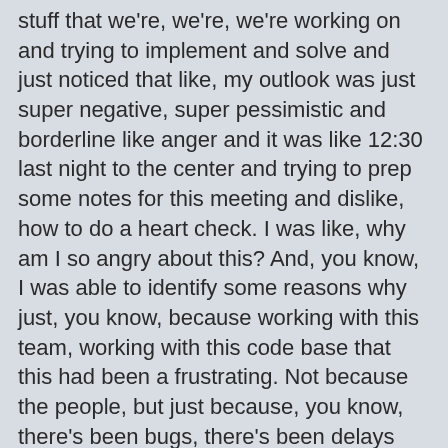stuff that we're, we're, we're working on and trying to implement and solve and just noticed that like, my outlook was just super negative, super pessimistic and borderline like anger and it was like 12:30 last night to the center and trying to prep some notes for this meeting and dislike, how to do a heart check. I was like, why am I so angry about this? And, you know, I was able to identify some reasons why just, you know, because working with this team, working with this code base that this had been a frustrating. Not because the people, but just because, you know, there's been bugs, there's been delays and so on and so forth.
Kris Van Houten - 32:45 - And that's kind of like painted this bad picture of this project. Uh, in my head and, but then I had to sit back and think like, well, is that, is the code bad? Is the project bad? Is the vision of this product bad? It's like, no, like this is actually the best way to solve these problems that were coming across and has had.